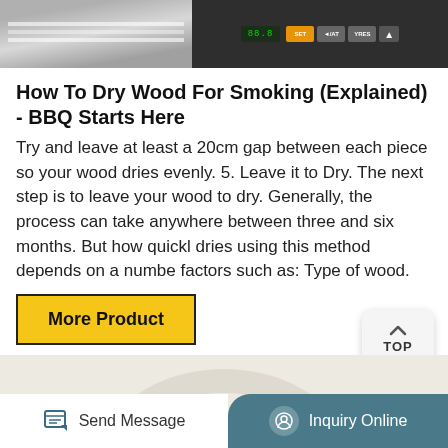[Figure (photo): Top image showing BBQ/smoking equipment: left side shows metallic grill grates, right side shows a control panel with orange and gray buttons and a digital display]
How To Dry Wood For Smoking (Explained) - BBQ Starts Here
Try and leave at least a 20cm gap between each piece so your wood dries evenly. 5. Leave it to Dry. The next step is to leave your wood to dry. Generally, the process can take anywhere between three and six months. But how quickly dries using this method depends on a number of factors such as: Type of wood.
[Figure (other): Yellow button with black border labeled 'More Product']
[Figure (photo): Partial image showing a white/cream colored rubber or plastic ring/hose on a light background]
Send Message   Inquiry Online